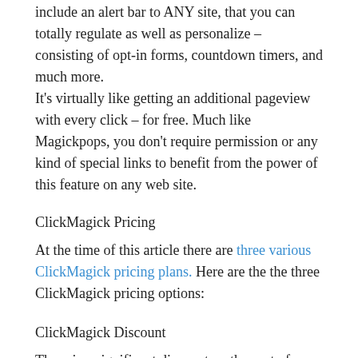include an alert bar to ANY site, that you can totally regulate as well as personalize – consisting of opt-in forms, countdown timers, and much more. It's virtually like getting an additional pageview with every click – for free. Much like Magickpops, you don't require permission or any kind of special links to benefit from the power of this feature on any web site.
ClickMagick Pricing
At the time of this article there are three various ClickMagick pricing plans. Here are the the three ClickMagick pricing options:
ClickMagick Discount
There is a significant discount on the cost of ClickMagick offered with the annual plan. You can pick any of the three strategies listed below and obtain a 30% ClickMagick price cut. See ClickMagick rates below